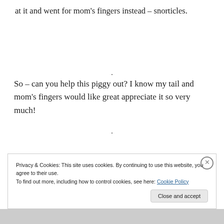at it and went for mom's fingers instead – snorticles.
.
So – can you help this piggy out?  I know my tail and mom's fingers would like great appreciate it so very much!
.
Privacy & Cookies: This site uses cookies. By continuing to use this website, you agree to their use.
To find out more, including how to control cookies, see here: Cookie Policy
Close and accept